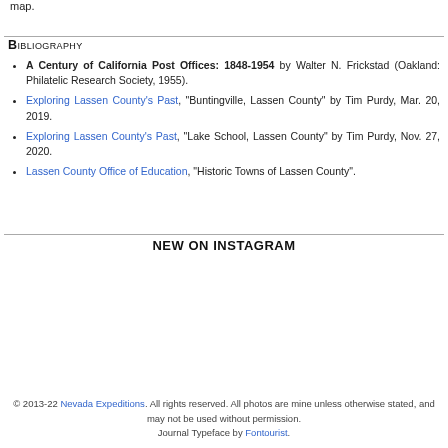map.
Bibliography
A Century of California Post Offices: 1848-1954 by Walter N. Frickstad (Oakland: Philatelic Research Society, 1955).
Exploring Lassen County's Past, "Buntingville, Lassen County" by Tim Purdy, Mar. 20, 2019.
Exploring Lassen County's Past, "Lake School, Lassen County" by Tim Purdy, Nov. 27, 2020.
Lassen County Office of Education, "Historic Towns of Lassen County".
New on Instagram
© 2013-22 Nevada Expeditions. All rights reserved. All photos are mine unless otherwise stated, and may not be used without permission. Journal Typeface by Fontourist.